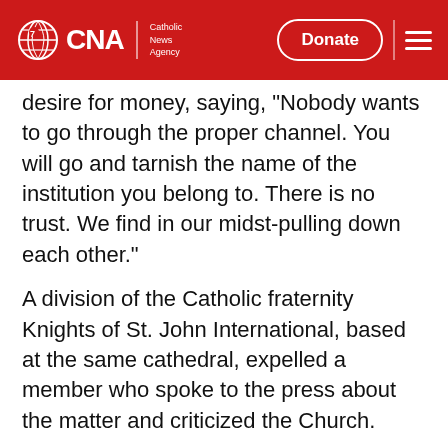CNA | Catholic News Agency | Donate
desire for money, saying, "Nobody wants to go through the proper channel. You will go and tarnish the name of the institution you belong to. There is no trust. We find in our midst-pulling down each other."
A division of the Catholic fraternity Knights of St. John International, based at the same cathedral, expelled a member who spoke to the press about the matter and criticized the Church.
Sawyer said harassment continued after his ordination, though indirectly. He charged that